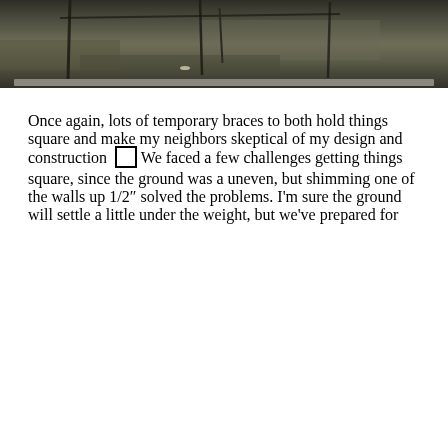[Figure (photo): Outdoor photo showing ground with dry grass and construction elements including vertical braces or posts]
Once again, lots of temporary braces to both hold things square and make my neighbors skeptical of my design and construction ☐ We faced a few challenges getting things square, since the ground was a uneven, but shimming one of the walls up 1/2″ solved the problems. I’m sure the ground will settle a little under the weight, but we’ve prepared for